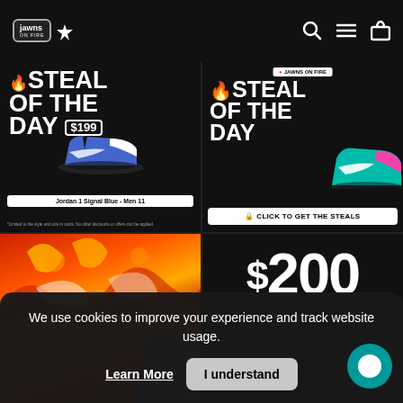Jawns on Fire — navigation header with logo, search, menu, and cart icons
[Figure (screenshot): Steal of the Day promotional banner showing Jordan 1 Signal Blue - Men 11 sneaker for $199 on black background with flame icon]
[Figure (screenshot): Steal of the Day promotional banner on black background with JAWNS ON FIRE badge, colorful sneaker, and 'CLICK TO GET THE STEALS' CTA]
[Figure (photo): Colorful red and orange patterned jacket or streetwear clothing item]
[Figure (screenshot): Partial price display showing $200 in large white text on black background]
We use cookies to improve your experience and track website usage.
Learn More
I understand